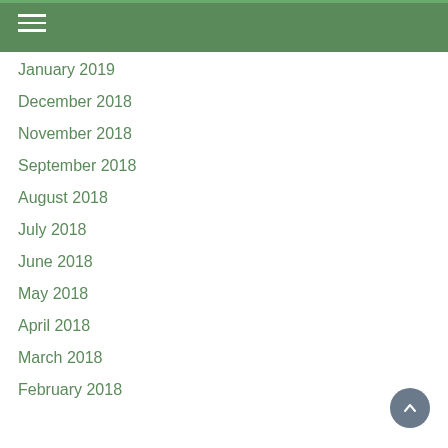January 2019
December 2018
November 2018
September 2018
August 2018
July 2018
June 2018
May 2018
April 2018
March 2018
February 2018